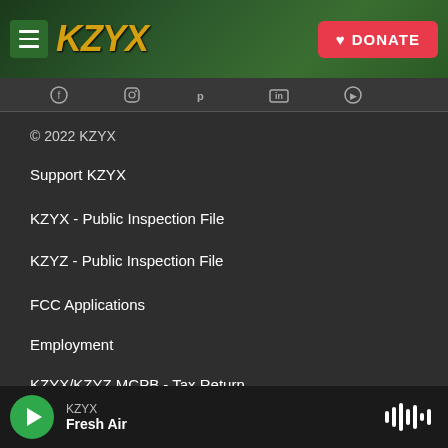KZYX - Navigation Header with DONATE button
© 2022 KZYX
Support KZYX
KZYX - Public Inspection File
KZYZ - Public Inspection File
FCC Applications
Employment
KZYX/KZYZ MCPB - Tax Return
KZYX Privacy Policy
KZYX — Fresh Air (now playing)